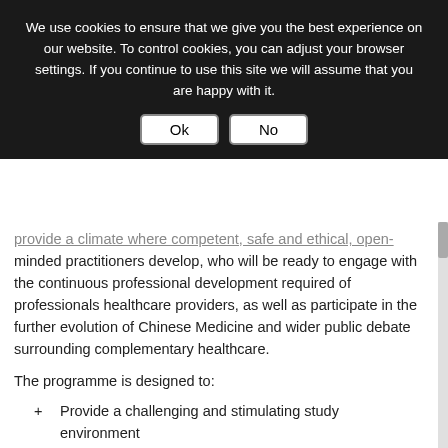We use cookies to ensure that we give you the best experience on our website. To control cookies, you can adjust your browser settings. If you continue to use this site we will assume that you are happy with it.
provide a climate where competent, safe and ethical, open-minded practitioners develop, who will be ready to engage with the continuous professional development required of professionals healthcare providers, as well as participate in the further evolution of Chinese Medicine and wider public debate surrounding complementary healthcare.
The programme is designed to:
Provide a challenging and stimulating study environment
Provide a diversity of approaches to learning and teaching of students including practical, experiential and clinical means where appropriate
Provide an effective education of professional health